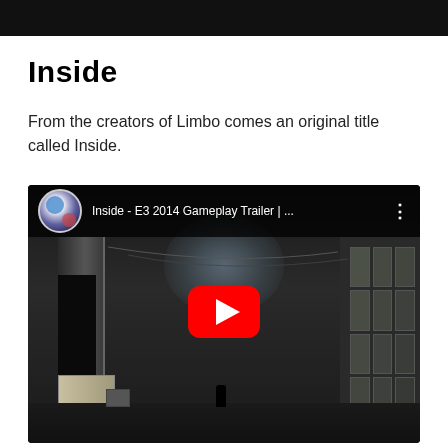[Figure (screenshot): Black banner/header bar at the top of the page]
Inside
From the creators of Limbo comes an original title called Inside.
[Figure (screenshot): YouTube embedded video thumbnail showing 'Inside - E3 2014 Gameplay Trailer | ...' with a dark game scene featuring a silhouetted character in a misty industrial environment, and a red YouTube play button in the center]